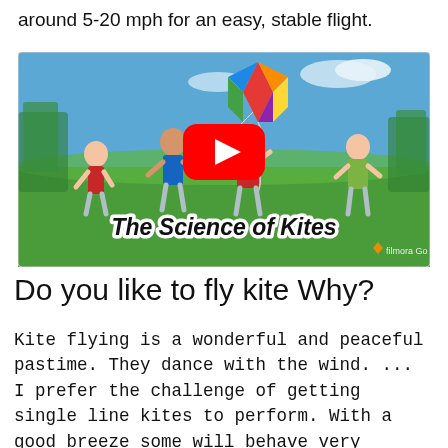around 5-20 mph for an easy, stable flight.
[Figure (photo): Children running in a field flying a colorful rainbow kite, with a YouTube play button overlay and the text 'The Science of Kites' at the bottom, and 'filmora Go' watermark.]
Do you like to fly kite Why?
Kite flying is a wonderful and peaceful pastime. They dance with the wind. ... I prefer the challenge of getting single line kites to perform. With a good breeze some will behave very dramatically swooping near